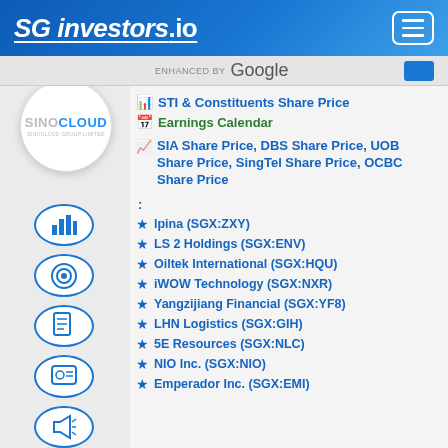SG investors.io
ENHANCED BY Google
STI & Constituents Share Price
Earnings Calendar
SIA Share Price, DBS Share Price, UOB Share Price, SingTel Share Price, OCBC Share Price
[Figure (logo): SinoCloud Group Limited circular logo]
lpina (SGX:ZXY)
LS 2 Holdings (SGX:ENV)
Oiltek International (SGX:HQU)
iWOW Technology (SGX:NXR)
Yangzijiang Financial (SGX:YF8)
LHN Logistics (SGX:GIH)
5E Resources (SGX:NLC)
NIO Inc. (SGX:NIO)
Emperador Inc. (SGX:EMI)